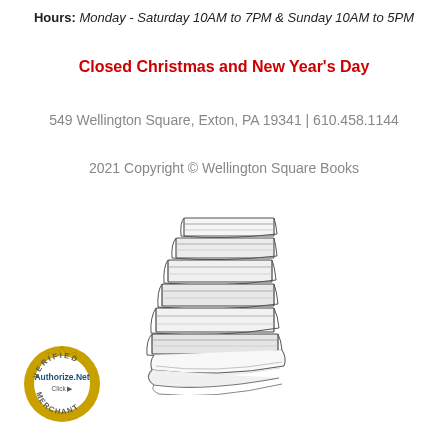Hours: Monday - Saturday 10AM to 7PM & Sunday 10AM to 5PM
Closed Christmas and New Year's Day
549 Wellington Square, Exton, PA 19341 | 610.458.1144
2021 Copyright © Wellington Square Books
[Figure (illustration): A pencil sketch of a stack of books drawn in black and white]
[Figure (logo): Authorize.Net Verified Merchant badge with gold seal and blue text]